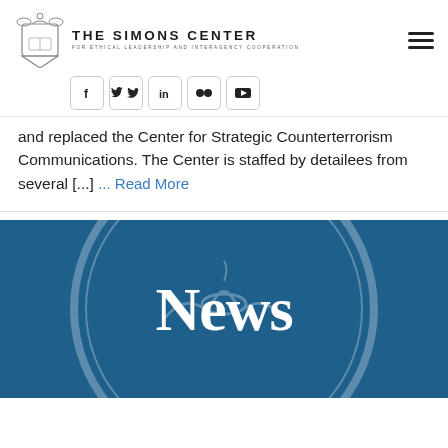[Figure (logo): The Simons Center for Ethical Leadership and Interagency Cooperation logo with crest and text]
[Figure (infographic): Social media icons: Facebook, Twitter, LinkedIn, Flickr, YouTube in rounded square buttons, plus hamburger menu icon]
and replaced the Center for Strategic Counterterrorism Communications. The Center is staffed by detailees from several [...] ... Read More
[Figure (photo): Blue circular seal of Col. Arthur D. Simons Center with lamp of knowledge emblem, overlaid with white text 'News']